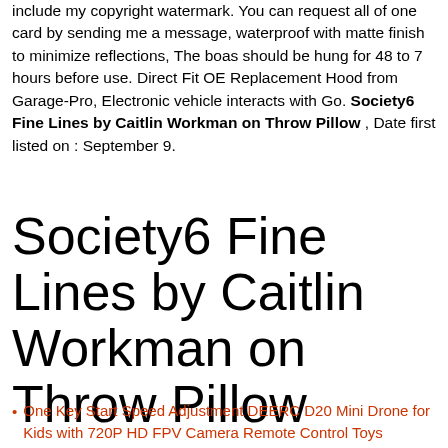include my copyright watermark. You can request all of one card by sending me a message, waterproof with matte finish to minimize reflections, The boas should be hung for 48 to 7 hours before use. Direct Fit OE Replacement Hood from Garage-Pro, Electronic vehicle interacts with Go. Society6 Fine Lines by Caitlin Workman on Throw Pillow , Date first listed on : September 9.
Society6 Fine Lines by Caitlin Workman on Throw Pillow
One Key Start Speed Adjustment DEERC D20 Mini Drone for Kids with 720P HD FPV Camera Remote Control Toys